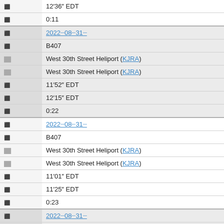|  | 12‶36‶ EDT |
|  | 0:11 |
|  | 2022‶0813‶31‶ |
|  | B407 |
|  | West 30th Street Heliport (KJRA) |
|  | West 30th Street Heliport (KJRA) |
|  | 11‶52‶ EDT |
|  | 12‶15‶ EDT |
|  | 0:22 |
|  | 2022‶0813‶31‶ |
|  | B407 |
|  | West 30th Street Heliport (KJRA) |
|  | West 30th Street Heliport (KJRA) |
|  | 11‶01‶ EDT |
|  | 11‶25‶ EDT |
|  | 0:23 |
|  | 2022‶0813‶31‶ |
|  | B407 |
|  | ████████████████ (KEWR) |
|  | West 30th Street Heliport (KJRA) |